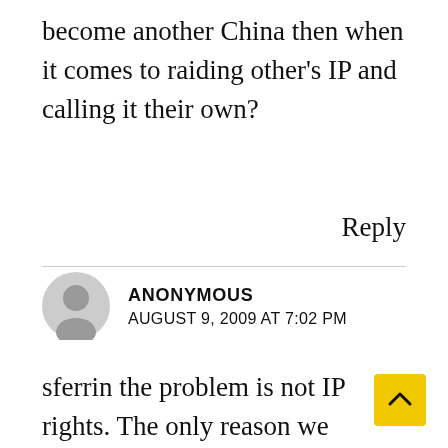become another China then when it comes to raiding other's IP and calling it their own?
Reply
ANONYMOUS
AUGUST 9, 2009 AT 7:02 PM
sferrin the problem is not IP rights. The only reason we haven't copied the IP is because we can't (haven't got the brain power yet), the issue is we do not know how to make the basic components of the engine itself. We not even build the machinery which is used